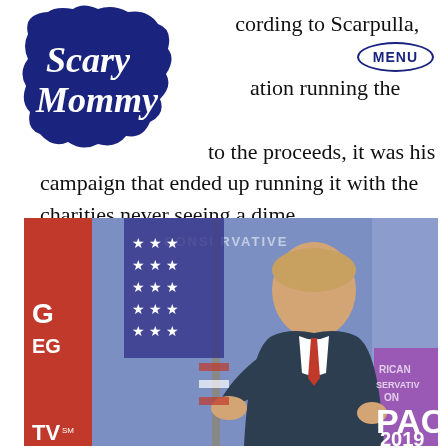[Figure (logo): Scary Mommy logo — dark navy cloud/speech-bubble shape with cursive text 'Scary Mommy']
[Figure (logo): MENU button — oval outline with bold navy text 'MENU']
However, according to Scarpulla, instead of the [logo] [MENU] ation running the event and [logo obscures] to the proceeds, it was his campaign that ended up running it with the charities never seeing a dime.
[Figure (photo): Photo of a man in a dark suit with a red tie hugging a large American flag on a stage with red and blue/purple banners. Text visible: 'CONSERVATIVE', 'G', 'PAC', '2019', 'TV SM']